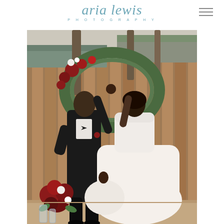aria lewis PHOTOGRAPHY
[Figure (photo): Wedding photo of a couple dancing outdoors. A groom in a black suit raises the hand of a bride in a white ball gown. They are in front of a wooden fence with a floral arch of greenery and red flowers. Red floral arrangements are visible in the foreground.]